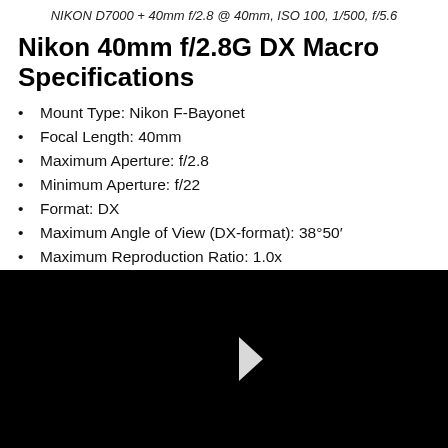NIKON D7000 + 40mm f/2.8 @ 40mm, ISO 100, 1/500, f/5.6
Nikon 40mm f/2.8G DX Macro Specifications
Mount Type: Nikon F-Bayonet
Focal Length: 40mm
Maximum Aperture: f/2.8
Minimum Aperture: f/22
Format: DX
Maximum Angle of View (DX-format): 38°50′
Maximum Reproduction Ratio: 1.0x
Lens Elements: 9
Lens Groups: 7
Compatible Format(s): DX
Diaphragm Blades: 7
Distance Information: Yes
[Figure (other): Black video player area with a white play button triangle in the center]